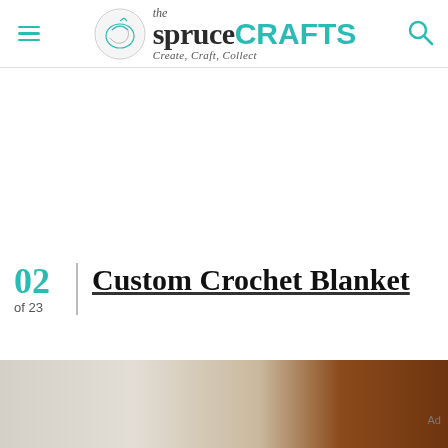the spruce CRAFTS — Create, Craft, Collect
02 of 23 Custom Crochet Blanket
[Figure (photo): Bottom strip showing partial view of a crochet blanket or craft project in cream/tan colors with a wooden surface visible on the right side. Ad label visible.]